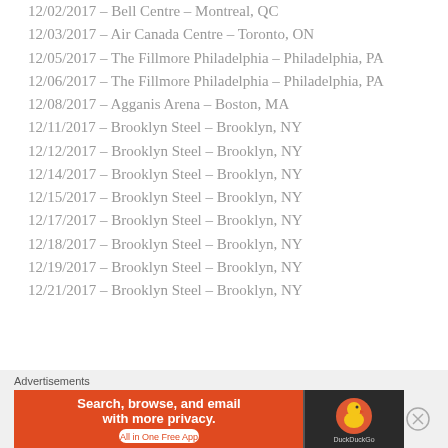12/02/2017 – Bell Centre – Montreal, QC
12/03/2017 – Air Canada Centre – Toronto, ON
12/05/2017 – The Fillmore Philadelphia – Philadelphia, PA
12/06/2017 – The Fillmore Philadelphia – Philadelphia, PA
12/08/2017 – Agganis Arena – Boston, MA
12/11/2017 – Brooklyn Steel – Brooklyn, NY
12/12/2017 – Brooklyn Steel – Brooklyn, NY
12/14/2017 – Brooklyn Steel – Brooklyn, NY
12/15/2017 – Brooklyn Steel – Brooklyn, NY
12/17/2017 – Brooklyn Steel – Brooklyn, NY
12/18/2017 – Brooklyn Steel – Brooklyn, NY
12/19/2017 – Brooklyn Steel – Brooklyn, NY
12/21/2017 – Brooklyn Steel – Brooklyn, NY
[Figure (infographic): DuckDuckGo advertisement banner with orange background. Text: 'Search, browse, and email with more privacy. All in One Free App'. DuckDuckGo duck logo on dark right panel.]